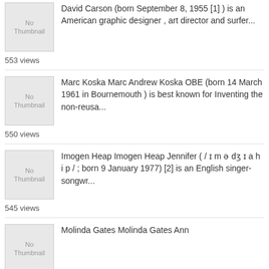[Figure (photo): No Thumbnail placeholder image]
David Carson (born September 8, 1955 [1] ) is an American graphic designer , art director and surfer...
553 views
[Figure (photo): No Thumbnail placeholder image]
Marc Koska Marc Andrew Koska OBE (born 14 March 1961 in Bournemouth ) is best known for Inventing the non-reusa...
550 views
[Figure (photo): No Thumbnail placeholder image]
Imogen Heap Imogen Heap Jennifer ( / ɪ m ə dʒ ɪ a h i p / ; born 9 January 1977) [2] is an English singer-songwr...
545 views
[Figure (photo): No Thumbnail placeholder image]
Molinda Gates Molinda Gates Ann